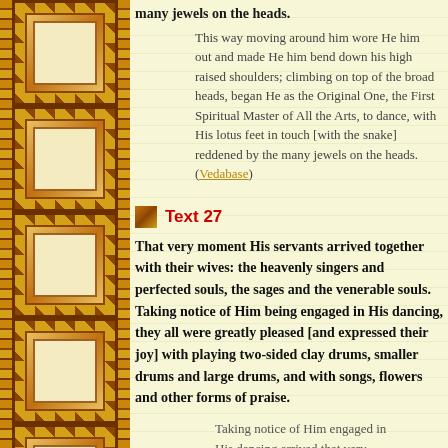many jewels on the heads.
This way moving around him wore He him out and made He him bend down his high raised shoulders; climbing on top of the broad heads, began He as the Original One, the First Spiritual Master of All the Arts, to dance, with His lotus feet in touch [with the snake] reddened by the many jewels on the heads. (Vedabase)
Text 27
That very moment His servants arrived together with their wives: the heavenly singers and perfected souls, the sages and the venerable souls. Taking notice of Him being engaged in His dancing, they all were greatly pleased [and expressed their joy] with playing two-sided clay drums, smaller drums and large drums, and with songs, flowers and other forms of praise.
Taking notice of Him engaged in His dancing arrived that very moment His servants: the heavenly